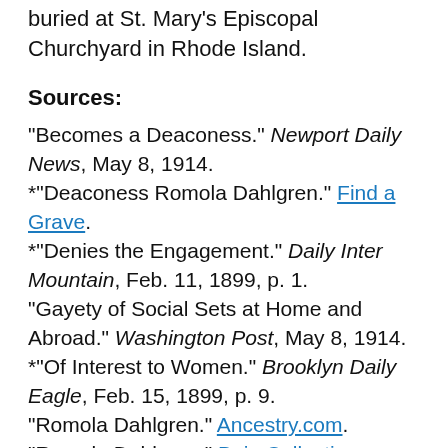buried at St. Mary's Episcopal Churchyard in Rhode Island.
Sources:
"Becomes a Deaconess." Newport Daily News, May 8, 1914.
*"Deaconess Romola Dahlgren." Find a Grave.
*"Denies the Engagement." Daily Inter Mountain, Feb. 11, 1899, p. 1.
"Gayety of Social Sets at Home and Abroad." Washington Post, May 8, 1914.
*"Of Interest to Women." Brooklyn Daily Eagle, Feb. 15, 1899, p. 9.
"Romola Dahlgren." Ancestry.com.
"Romola Dahlgren." Bain Collection. (Photo)
OCTOBER  20
KATE GIRLEY SHAW (Born 25, 1879